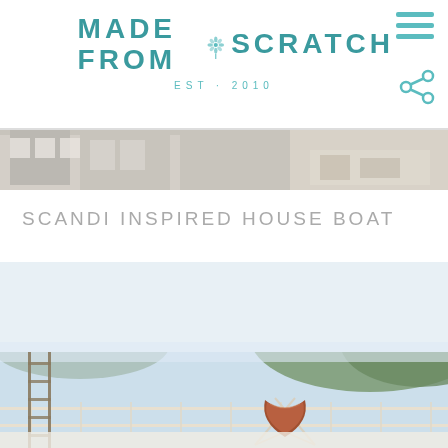[Figure (logo): Made From Scratch blog logo with teal/turquoise text, decorative floral emblem above the 'O' in FROM, and 'EST · 2010' tagline below]
[Figure (photo): Hamburger menu icon (three teal horizontal lines) in top right corner]
[Figure (photo): Share icon (teal connected dots/share symbol) in top right area below hamburger]
[Figure (photo): Banner strip showing black and white photos of buildings/balconies and outdoor furniture]
SCANDI INSPIRED HOUSE BOAT
[Figure (photo): Photo of a houseboat deck with a brown leather butterfly chair overlooking a calm lake with green hills in the background]